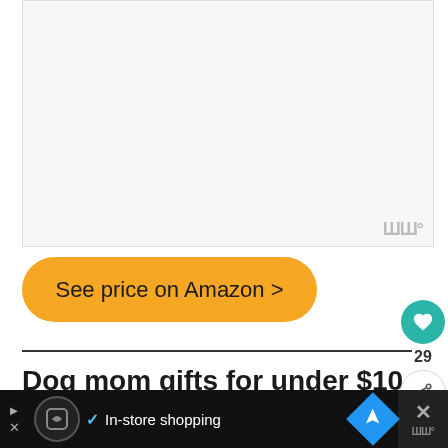[Figure (photo): Light gray image placeholder area with a watermark logo in the bottom-right corner]
See price on Amazon >
[Figure (other): Heart (favorite) button and share button with count 29 on the right side]
29
Dog mom gifts for under $10
[Figure (other): Bottom advertisement bar with navigation icons, logo, checkmark, 'In-store shopping' text, and close button]